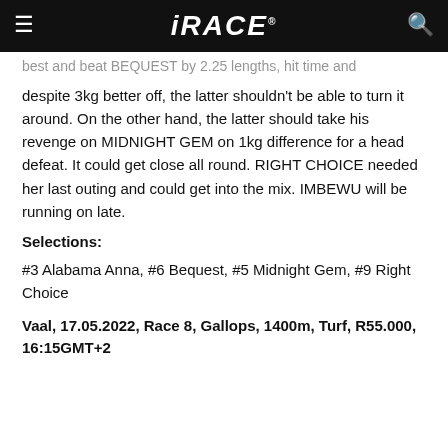iRACE
best and beat BEQUEST by 2.25 lengths, hit time and despite 3kg better off, the latter shouldn't be able to turn it around. On the other hand, the latter should take his revenge on MIDNIGHT GEM on 1kg difference for a head defeat. It could get close all round. RIGHT CHOICE needed her last outing and could get into the mix. IMBEWU will be running on late.
Selections:
#3 Alabama Anna, #6 Bequest, #5 Midnight Gem, #9 Right Choice
Vaal, 17.05.2022, Race 8, Gallops, 1400m, Turf, R55.000, 16:15GMT+2